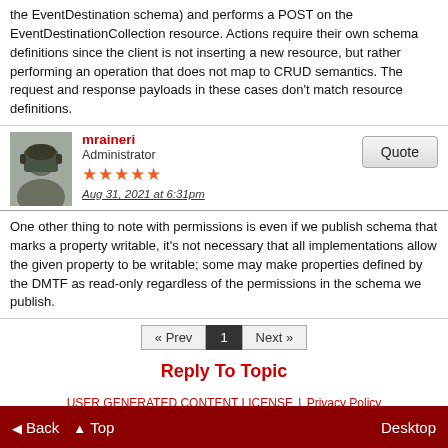the EventDestination schema) and performs a POST on the EventDestinationCollection resource. Actions require their own schema definitions since the client is not inserting a new resource, but rather performing an operation that does not map to CRUD semantics. The request and response payloads in these cases don't match resource definitions.
mraineri
Administrator
Aug 31, 2021 at 6:31pm
One other thing to note with permissions is even if we publish schema that marks a property writable, it's not necessary that all implementations allow the given property to be writable; some may make properties defined by the DMTF as read-only regardless of the permissions in the schema we publish.
« Prev  1  Next »
Reply To Topic
USER GENERATED CONTENT LICENSE | Privacy Policy
◀ Back  ▲ Top  Desktop